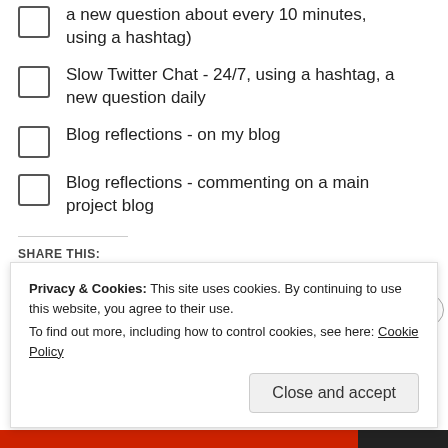a new question about every 10 minutes, using a hashtag)
Slow Twitter Chat - 24/7, using a hashtag, a new question daily
Blog reflections - on my blog
Blog reflections - commenting on a main project blog
SHARE THIS:
[Figure (screenshot): Social sharing buttons: Twitter, Facebook, Email, LinkedIn, Pinterest, Reddit, Tumblr]
Privacy & Cookies: This site uses cookies. By continuing to use this website, you agree to their use.
To find out more, including how to control cookies, see here: Cookie Policy
Close and accept